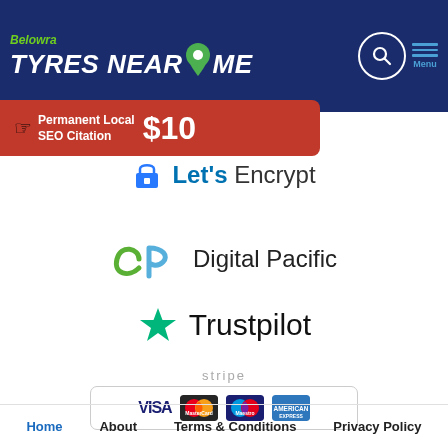[Figure (logo): Belowra Tyres Near Me website header logo with navigation icons on dark blue background]
[Figure (infographic): Red banner advertisement: Permanent Local SEO Citation $10]
[Figure (logo): Let's Encrypt SSL certificate logo]
[Figure (logo): Digital Pacific hosting logo]
[Figure (logo): Trustpilot logo with green star]
[Figure (logo): Stripe payment logos: VISA, MasterCard, Maestro, American Express]
Home   About   Terms & Conditions   Privacy Policy